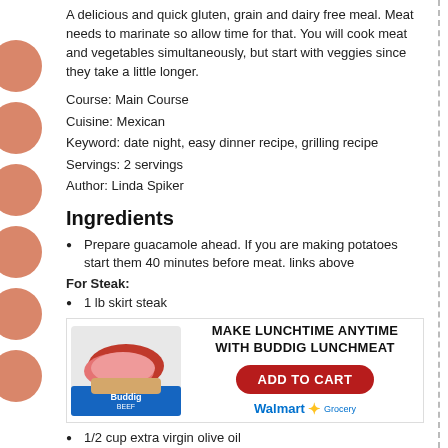A delicious and quick gluten, grain and dairy free meal. Meat needs to marinate so allow time for that. You will cook meat and vegetables simultaneously, but start with veggies since they take a little longer.
Course: Main Course
Cuisine: Mexican
Keyword: date night, easy dinner recipe, grilling recipe
Servings: 2 servings
Author: Linda Spiker
Ingredients
Prepare guacamole ahead. If you are making potatoes start them 40 minutes before meat. links above
For Steak:
1 lb skirt steak
[Figure (infographic): Advertisement for Buddig Lunchmeat with product image on left, bold text 'MAKE LUNCHTIME ANYTIME WITH BUDDIG LUNCHMEAT', a red 'ADD TO CART' button, and Walmart Grocery logo.]
1/2 cup extra virgin olive oil
3 tablespoons freshly squeezed lime juice
3 tablespoons red wine vinegar
2 cloves garlic minced
1 teaspoon chili powder
2 teaspoons onion powder
1/8-1/4 teaspoon cayenne pepper (depending on how